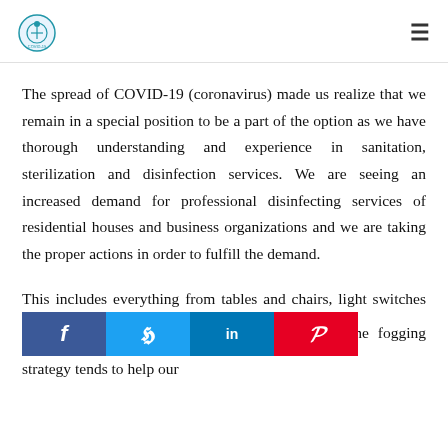[Logo] [Hamburger menu icon]
The spread of COVID-19 (coronavirus) made us realize that we remain in a special position to be a part of the option as we have thorough understanding and experience in sanitation, sterilization and disinfection services. We are seeing an increased demand for professional disinfecting services of residential houses and business organizations and we are taking the proper actions in order to fulfill the demand.
This includes everything from tables and chairs, light switches [social bar overlay] lls, and shelves. The fogging strategy tends to help our